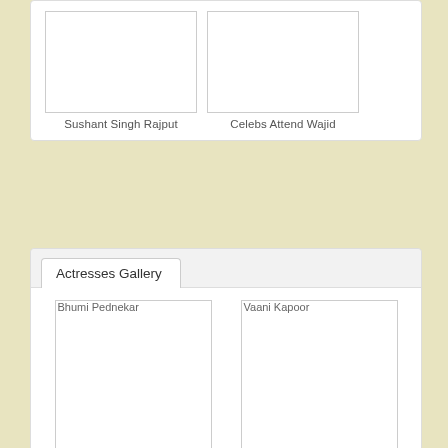[Figure (screenshot): Thumbnail image placeholder for Sushant Singh Rajput]
Sushant Singh Rajput
[Figure (screenshot): Thumbnail image placeholder for Celebs Attend Wajid]
Celebs Attend Wajid
Actresses Gallery
[Figure (photo): Broken image placeholder for Bhumi Pednekar]
Bhumi Pednekar
[Figure (photo): Broken image placeholder for Vaani Kapoor]
Vaani Kapoor
[Figure (photo): Broken image placeholder for Tara Sutaria]
Tara Sutaria
[Figure (photo): Broken image placeholder for Esha Gupta]
Esha Gupta